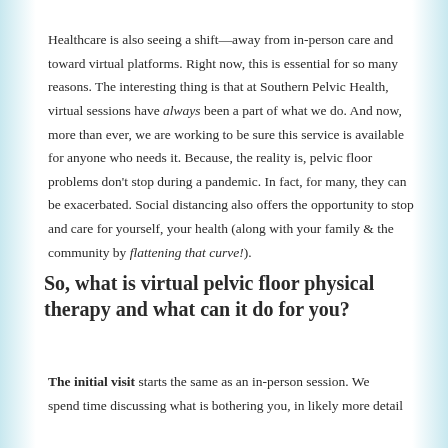Healthcare is also seeing a shift—away from in-person care and toward virtual platforms. Right now, this is essential for so many reasons. The interesting thing is that at Southern Pelvic Health, virtual sessions have always been a part of what we do. And now, more than ever, we are working to be sure this service is available for anyone who needs it. Because, the reality is, pelvic floor problems don't stop during a pandemic. In fact, for many, they can be exacerbated. Social distancing also offers the opportunity to stop and care for yourself, your health (along with your family & the community by flattening that curve!).
So, what is virtual pelvic floor physical therapy and what can it do for you?
The initial visit starts the same as an in-person session. We spend time discussing what is bothering you, in likely more detail